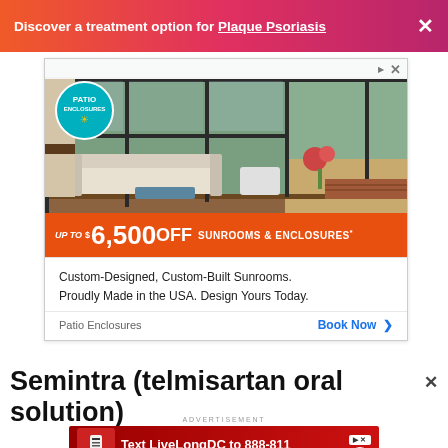Discover a treatment option for Plaque Psoriasis ×
[Figure (photo): Patio Enclosures advertisement showing a sunroom/enclosed patio with glass walls and a sofa inside. Banner reads 'up to $6,500 OFF SUNROOMS & ENCLOSURES*'. Text below: Custom-Designed, Custom-Built Sunrooms. Proudly Made in the USA. Design Yours Today. Footer: Patio Enclosures | Book Now >]
Semintra (telmisartan oral solution)
ADVERTISEMENT
[Figure (photo): Red advertisement banner: Text LiveLongDC to 888-811 to find naloxone near you.]